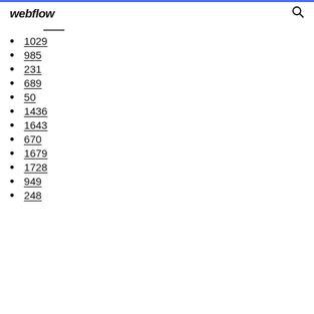webflow
1029
985
231
689
50
1436
1643
670
1679
1728
949
248